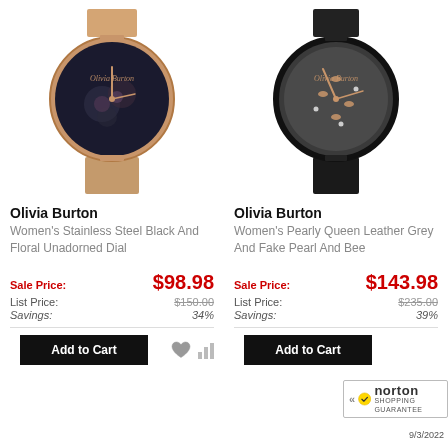[Figure (photo): Olivia Burton women's watch with rose gold mesh band and black floral dial]
[Figure (photo): Olivia Burton women's watch with black leather band and grey bee dial]
Olivia Burton
Women's Stainless Steel Black And Floral Unadorned Dial
Sale Price: $98.98
List Price: $150.00
Savings: 34%
Olivia Burton
Women's Pearly Queen Leather Grey And Fake Pearl And Bee
Sale Price: $143.98
List Price: $235.00
Savings: 39%
[Figure (logo): Norton Shopping Guarantee badge with checkmark, date 9/3/2022]